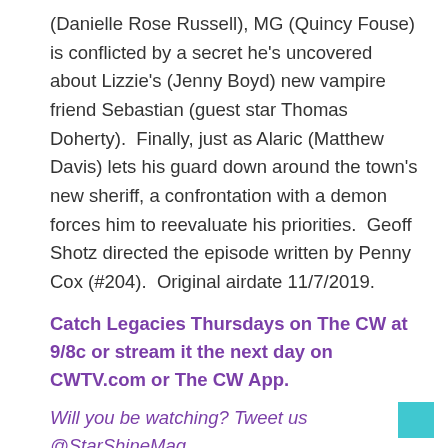(Danielle Rose Russell), MG (Quincy Fouse) is conflicted by a secret he's uncovered about Lizzie's (Jenny Boyd) new vampire friend Sebastian (guest star Thomas Doherty).  Finally, just as Alaric (Matthew Davis) lets his guard down around the town's new sheriff, a confrontation with a demon forces him to reevaluate his priorities.  Geoff Shotz directed the episode written by Penny Cox (#204).  Original airdate 11/7/2019.
Catch Legacies Thursdays on The CW at 9/8c or stream it the next day on CWTV.com or The CW App.
Will you be watching? Tweet us @StarShineMag